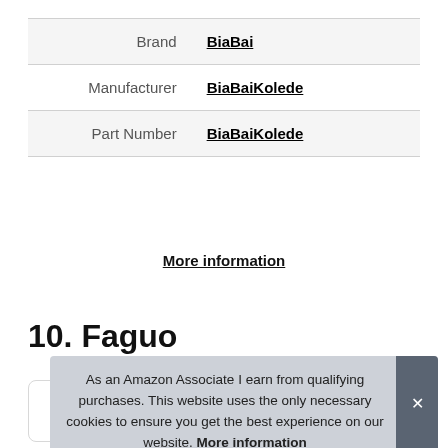|  |  |
| --- | --- |
| Brand | BiaBai |
| Manufacturer | BiaBaiKolede |
| Part Number | BiaBaiKolede |
More information
10. Faguo
As an Amazon Associate I earn from qualifying purchases. This website uses the only necessary cookies to ensure you get the best experience on our website. More information